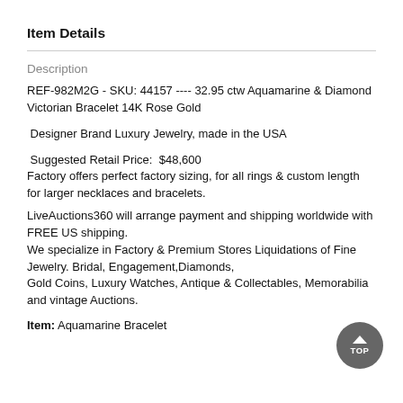Item Details
Description
REF-982M2G - SKU: 44157 ---- 32.95 ctw Aquamarine & Diamond Victorian Bracelet 14K Rose Gold
Designer Brand Luxury Jewelry, made in the USA
Suggested Retail Price:  $48,600
Factory offers perfect factory sizing, for all rings & custom length for larger necklaces and bracelets.
LiveAuctions360 will arrange payment and shipping worldwide with FREE US shipping.
We specialize in Factory & Premium Stores Liquidations of Fine Jewelry. Bridal, Engagement,Diamonds,
Gold Coins, Luxury Watches, Antique & Collectables, Memorabilia and vintage Auctions.
Item: Aquamarine Bracelet